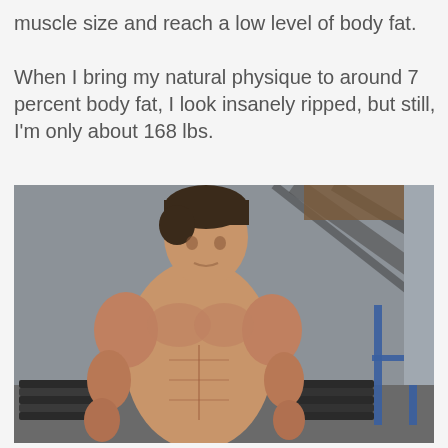muscle size and reach a low level of body fat.

When I bring my natural physique to around 7 percent body fat, I look insanely ripped, but still, I'm only about 168 lbs.
[Figure (photo): A lean, muscular shirtless young man with dark hair posing in a gym setting, showing defined abs and muscles, taken as a selfie-style photo in a gym with weight equipment visible in the background.]